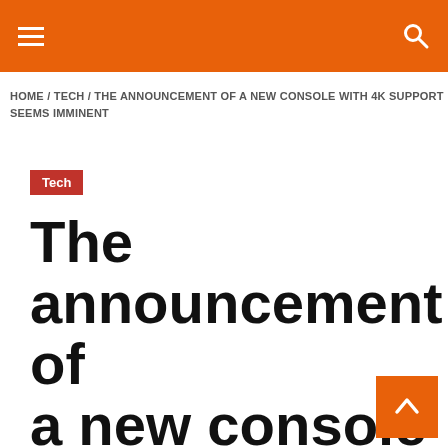Navigation bar with hamburger menu and search icon
HOME / TECH / THE ANNOUNCEMENT OF A NEW CONSOLE WITH 4K SUPPORT SEEMS IMMINENT
Tech
The announcement of a new console with 4K support